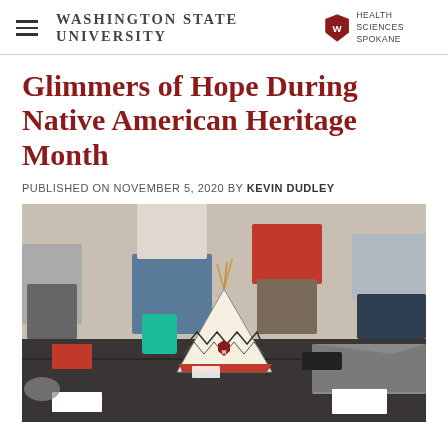Washington State University Health Sciences Spokane
Glimmers of Hope During Native American Heritage Month
PUBLISHED ON NOVEMBER 5, 2020 BY KEVIN DUDLEY
[Figure (photo): A decorative miniature teepee with WSU Cougar logo on a dark table at an event, with people standing in the background]